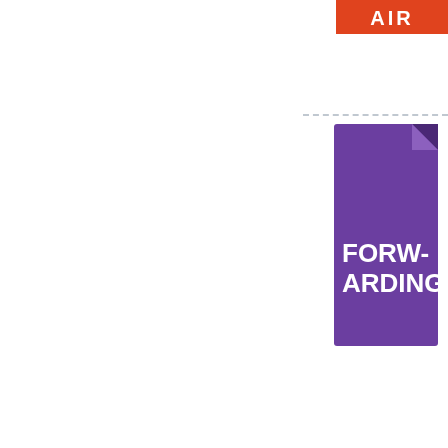[Figure (illustration): Red banner with white text 'AIR' at top right]
[Figure (illustration): Purple document/file icon with white text 'FORW-ARDING' on it, first instance]
[Figure (illustration): Purple document/file icon with white text 'FORW-ARDING' on it, second instance]
[Figure (illustration): Purple document/file icon with white text 'FORW-ARDING' on it, third instance (partially visible at bottom)]